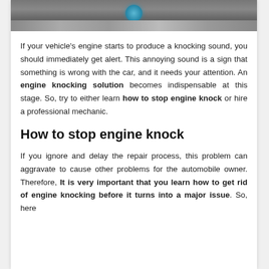[Figure (photo): Close-up photo of a car engine showing metallic engine parts and a blue cap, likely a coolant or oil reservoir cap.]
If your vehicle's engine starts to produce a knocking sound, you should immediately get alert. This annoying sound is a sign that something is wrong with the car, and it needs your attention. An engine knocking solution becomes indispensable at this stage. So, try to either learn how to stop engine knock or hire a professional mechanic.
How to stop engine knock
If you ignore and delay the repair process, this problem can aggravate to cause other problems for the automobile owner. Therefore, It is very important that you learn how to get rid of engine knocking before it turns into a major issue. So, here